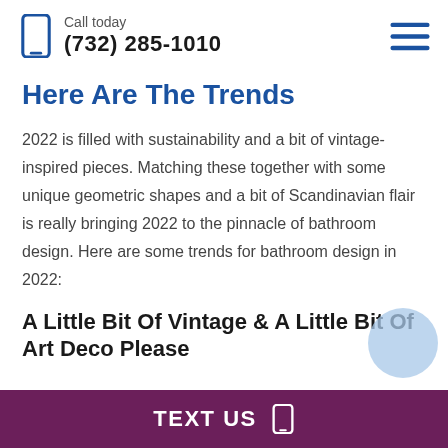Call today (732) 285-1010
Here Are The Trends
2022 is filled with sustainability and a bit of vintage-inspired pieces. Matching these together with some unique geometric shapes and a bit of Scandinavian flair is really bringing 2022 to the pinnacle of bathroom design. Here are some trends for bathroom design in 2022:
A Little Bit Of Vintage & A Little Bit Of Art Deco Please
TEXT US